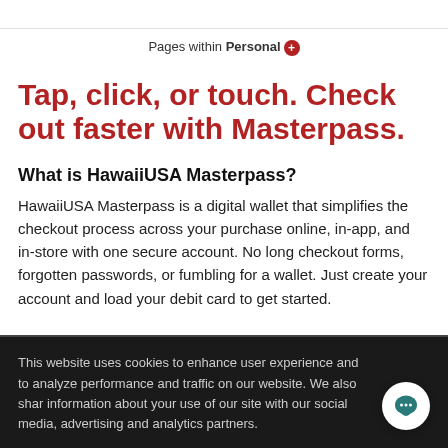Pages within Personal ➕
Tap, click, or touch. Check out faster with Masterpass.
What is HawaiiUSA Masterpass?
HawaiiUSA Masterpass is a digital wallet that simplifies the checkout process across your purchase online, in-app, and in-store with one secure account. No long checkout forms, forgotten passwords, or fumbling for a wallet. Just create your account and load your debit card to get started.
This website uses cookies to enhance user experience and to analyze performance and traffic on our website. We also share information about your use of our site with our social media, advertising and analytics partners.